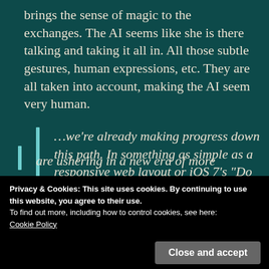brings the sense of magic to the exchanges. The AI seems like she is there talking and taking it all in. All those subtle gestures, human expressions, etc. They are all taken into account, making the AI seem very human.
...we're already making progress down this path. In something as simple as a responsive web layout or iOS 7's "Do Not Disturb" feature, we're starting to see designs that are more perceptive
Privacy & Cookies: This site uses cookies. By continuing to use this website, you agree to their use.
To find out more, including how to control cookies, see here:
Cookie Policy
Close and accept
are ushering in a new era of more